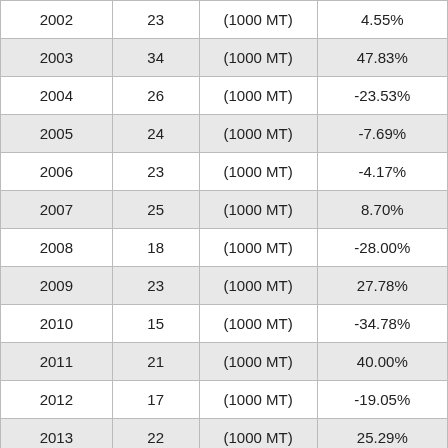| Year | Value | Unit | % Change |
| --- | --- | --- | --- |
| 2002 | 23 | (1000 MT) | 4.55% |
| 2003 | 34 | (1000 MT) | 47.83% |
| 2004 | 26 | (1000 MT) | -23.53% |
| 2005 | 24 | (1000 MT) | -7.69% |
| 2006 | 23 | (1000 MT) | -4.17% |
| 2007 | 25 | (1000 MT) | 8.70% |
| 2008 | 18 | (1000 MT) | -28.00% |
| 2009 | 23 | (1000 MT) | 27.78% |
| 2010 | 15 | (1000 MT) | -34.78% |
| 2011 | 21 | (1000 MT) | 40.00% |
| 2012 | 17 | (1000 MT) | -19.05% |
| 2013 | 22 | (1000 MT) | 25.29% |